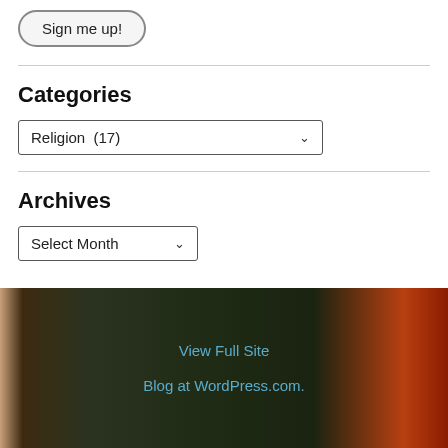Sign me up!
Categories
Religion  (17)
Archives
Select Month
View Full Site
Blog at WordPress.com.